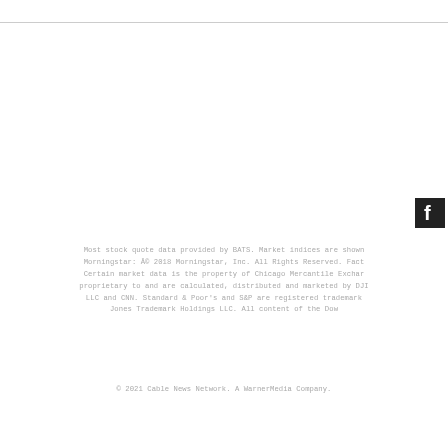[Figure (logo): Facebook logo icon, dark square with white f]
Most stock quote data provided by BATS. Market indices are shown in real time, except for the DJIA, which is delayed by two minutes. All times are ET. Disclaimer Morningstar: Â© 2018 Morningstar, Inc. All Rights Reserved. Factset: FactSet Research Systems Inc. 2018. All rights reserved. Chicago Mercantile Association: Certain market data is the property of Chicago Mercantile Exchange Inc. and its licensors. All rights reserved. Dow Jones: The Dow Jones branded indices are proprietary to and are calculated, distributed and marketed by DJI Opco, a subsidiary of S&P Dow Jones Indices LLC and its affiliates and have been licensed for use to S&P Opco, LLC and CNN. Standard & Poor's and S&P are registered trademarks of Standard & Poor's Financial Services LLC and Dow Jones is a registered trademark of Dow Jones Trademark Holdings LLC. All content of the Dow Jones branded indices Copyright S&P Dow Jones Indices LLC 2018 and/or its affiliates.
© 2021 Cable News Network. A WarnerMedia Company.